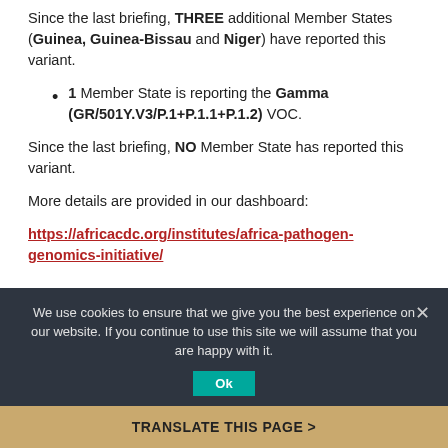Since the last briefing, THREE additional Member States (Guinea, Guinea-Bissau and Niger) have reported this variant.
1 Member State is reporting the Gamma (GR/501Y.V3/P.1+P.1.1+P.1.2) VOC.
Since the last briefing, NO Member State has reported this variant.
More details are provided in our dashboard:
https://africacdc.org/institutes/africa-pathogen-genomics-initiative/
We use cookies to ensure that we give you the best experience on our website. If you continue to use this site we will assume that you are happy with it.
TRANSLATE THIS PAGE >